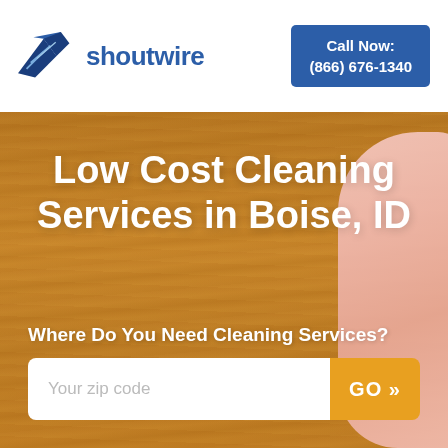[Figure (logo): Shoutwire logo: blue bird/arrow wing icon with text 'shoutwire']
Call Now:
(866) 676-1340
Low Cost Cleaning Services in Boise, ID
Where Do You Need Cleaning Services?
[Figure (other): Zip code input field with placeholder 'Your zip code' and orange GO button with double chevron]
[Figure (photo): Wooden surface background with pink cleaning cloth on the right side]